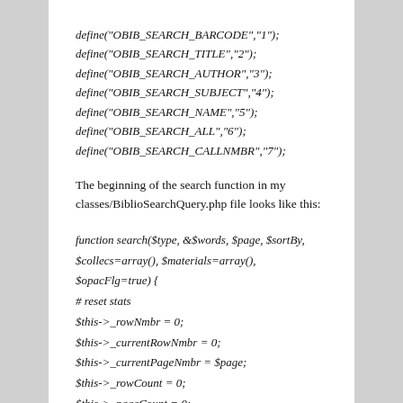define("OBIB_SEARCH_BARCODE","1");
define("OBIB_SEARCH_TITLE","2");
define("OBIB_SEARCH_AUTHOR","3");
define("OBIB_SEARCH_SUBJECT","4");
define("OBIB_SEARCH_NAME","5");
define("OBIB_SEARCH_ALL","6");
define("OBIB_SEARCH_CALLNMBR","7");
The beginning of the search function in my classes/BiblioSearchQuery.php file looks like this:
function search($type, &$words, $page, $sortBy,
$collecs=array(), $materials=array(), $opacFlg=true) {
# reset stats
$this->_rowNmbr = 0;
$this->_currentRowNmbr = 0;
$this->_currentPageNmbr = $page;
$this->_rowCount = 0;
$this->_pageCount = 0;